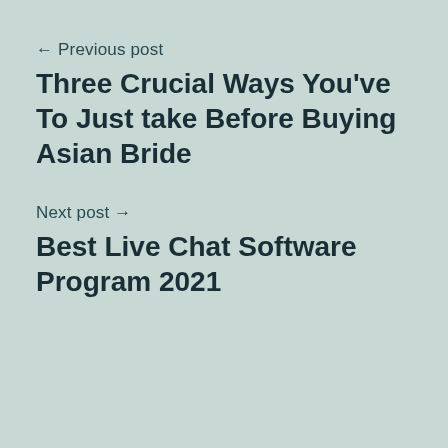← Previous post
Three Crucial Ways You've To Just take Before Buying Asian Bride
Next post →
Best Live Chat Software Program 2021